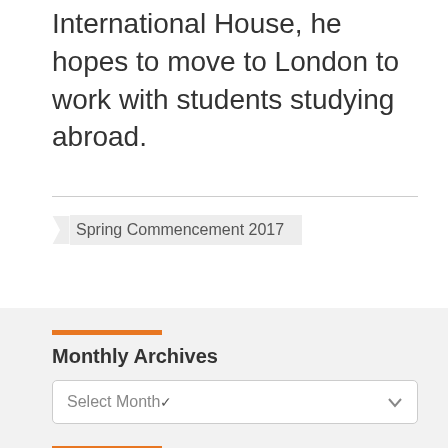International House, he hopes to move to London to work with students studying abroad.
Spring Commencement 2017
Monthly Archives
Select Month
Popular Posts
Graduate Supply Chain Programs Receive Top Ranking